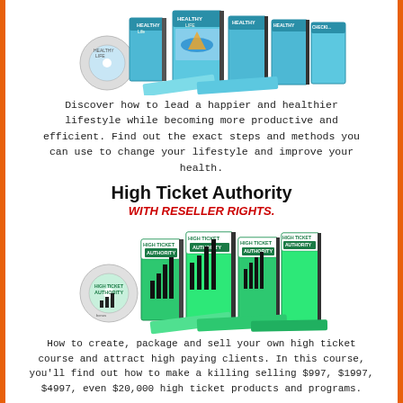[Figure (illustration): Product bundle mockup showing books, CDs and boxes with beach/vacation theme for a healthy lifestyle product]
Discover how to lead a happier and healthier lifestyle while becoming more productive and efficient. Find out the exact steps and methods you can use to change your lifestyle and improve your health.
High Ticket Authority
WITH RESELLER RIGHTS.
[Figure (illustration): Product bundle mockup showing multiple boxes, books and a CD with 'High Ticket Authority' branding featuring green color scheme and bar chart growth icon]
How to create, package and sell your own high ticket course and attract high paying clients. In this course, you'll find out how to make a killing selling $997, $1997, $4997, even $20,000 high ticket products and programs.
Launch Digital Product Business
WITH RESELLER RIGHTS.
[Figure (illustration): Partial product bundle mockup for Launch Digital Product Business, cropped at bottom of page]